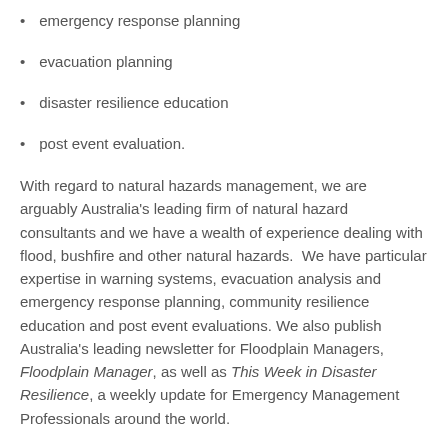emergency response planning
evacuation planning
disaster resilience education
post event evaluation.
With regard to natural hazards management, we are arguably Australia’s leading firm of natural hazard consultants and we have a wealth of experience dealing with flood, bushfire and other natural hazards.  We have particular expertise in warning systems, evacuation analysis and emergency response planning, community resilience education and post event evaluations. We also publish Australia’s leading newsletter for Floodplain Managers, Floodplain Manager, as well as This Week in Disaster Resilience, a weekly update for Emergency Management Professionals around the world.
Our reputation in natural hazard and disaster management